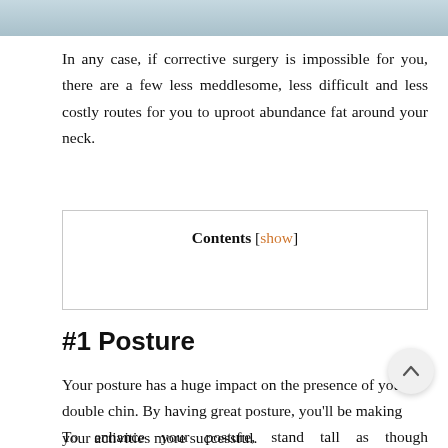[Figure (photo): Partial image of a person's neck/chin area, cropped at top of page]
In any case, if corrective surgery is impossible for you, there are a few less meddlesome, less difficult and less costly routes for you to uproot abundance fat around your neck.
| Contents [show] |
| --- |
#1 Posture
Your posture has a huge impact on the presence of your double chin. By having great posture, you'll be making your activities more successful.
To enhance your posture, stand tall as though imperceptible strings are tenderly lifting you by your rib